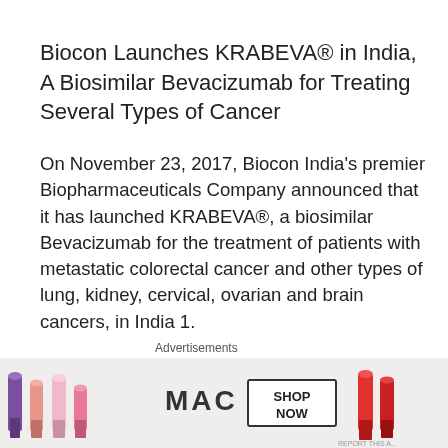Biocon Launches KRABEVA® in India,  A Biosimilar Bevacizumab for Treating Several Types of Cancer
On November 23, 2017, Biocon India's premier Biopharmaceuticals Company announced that it has launched KRABEVA®, a biosimilar Bevacizumab for the treatment of patients with metastatic colorectal cancer and other types of lung, kidney, cervical, ovarian and brain cancers, in India 1.
KRABEVA®, a monoclonal antibody (mAb) developed by Biocon, will help expand access to a world-class,
[Figure (other): MAC cosmetics advertisement banner showing lipsticks in purple, pink, and red colors with MAC logo and SHOP NOW button]